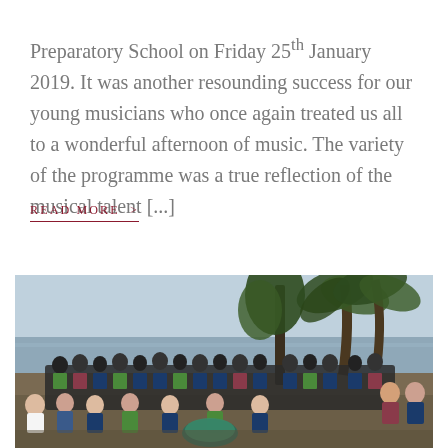Preparatory School on Friday 25th January 2019.   It was another resounding success for our young musicians who once again treated us all to a wonderful afternoon of music.  The variety of the programme was a true reflection of the musical talent [...]
READ MORE >
[Figure (photo): A large group of school children and adults posing on a beach with trees and an overcast sky in the background.]